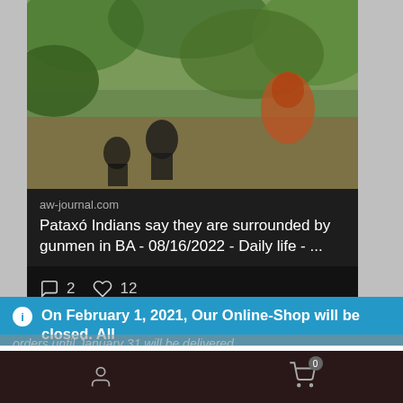[Figure (screenshot): Social media card showing a news article. Photo of people outdoors in a wooded area. Source: aw-journal.com. Title: Pataxó Indians say they are surrounded by gunmen in BA - 08/16/2022 - Daily life - ...]
aw-journal.com
Pataxó Indians say they are surrounded by gunmen in BA - 08/16/2022 - Daily life - ...
2 reactions, 12 likes
On February 1, 2021, Our Online-Shop will be closed. All orders until January 31 will be delivered
Dismiss
We use cookies to ensure that we give you the best experience on our website. If you continue to use this site we will assume that you are happy with it.
Ok